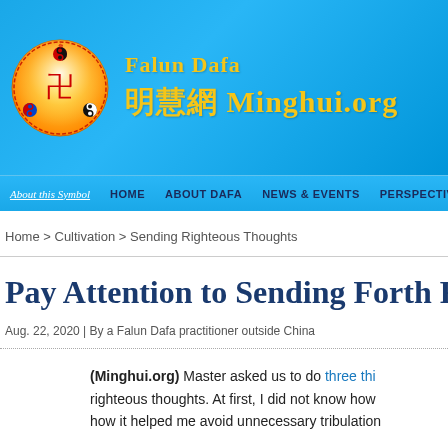[Figure (logo): Falun Dafa / Minghui.org website header with logo circle and golden text on blue background]
About this Symbol   HOME   ABOUT DAFA   NEWS & EVENTS   PERSPECTIVE
Home > Cultivation > Sending Righteous Thoughts
Pay Attention to Sending Forth Ri...
Aug. 22, 2020 | By a Falun Dafa practitioner outside China
(Minghui.org) Master asked us to do three thi... righteous thoughts. At first, I did not know how... how it helped me avoid unnecessary tribulation...